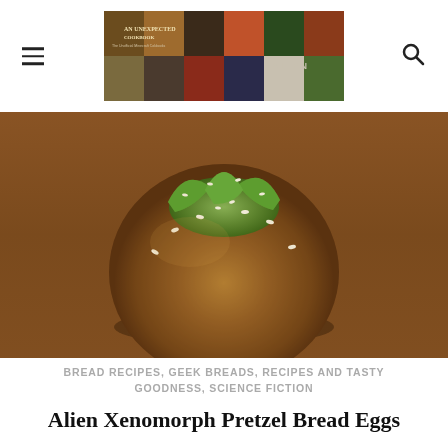The Unexpected Cookbook — banner header with hamburger menu and search icon
[Figure (photo): A round pretzel bread roll with green protrusions resembling an alien xenomorph egg, sprinkled with sesame seeds, photographed on a wooden surface]
BREAD RECIPES, GEEK BREADS, RECIPES AND TASTY GOODNESS, SCIENCE FICTION
Alien Xenomorph Pretzel Bread Eggs